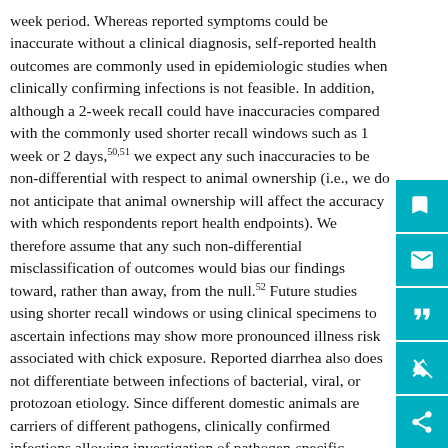week period. Whereas reported symptoms could be inaccurate without a clinical diagnosis, self-reported health outcomes are commonly used in epidemiologic studies when clinically confirming infections is not feasible. In addition, although a 2-week recall could have inaccuracies compared with the commonly used shorter recall windows such as 1 week or 2 days,50,51 we expect any such inaccuracies to be non-differential with respect to animal ownership (i.e., we do not anticipate that animal ownership will affect the accuracy with which respondents report health endpoints). We therefore assume that any such non-differential misclassification of outcomes would bias our findings toward, rather than away, from the null.52 Future studies using shorter recall windows or using clinical specimens to ascertain infections may show more pronounced illness risk associated with chick exposure. Reported diarrhea also does not differentiate between infections of bacterial, viral, or protozoan etiology. Since different domestic animals are carriers of different pathogens, clinically confirmed infections allowing investigation of pathogen-specific infections and specific animal–pathogen pairs would be expected to reveal clearer associations between animal ownership and health endpoints.13